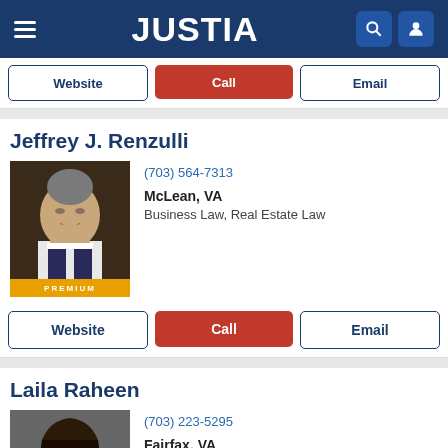JUSTIA
Website | Call | Email
Jeffrey J. Renzulli
[Figure (photo): Headshot of Jeffrey J. Renzulli, a middle-aged man with short gray hair, smiling, wearing a suit]
(703) 564-7313
McLean, VA
Business Law, Real Estate Law
PREMIUM
Website | Call | Email
Laila Raheen
[Figure (photo): Headshot of Laila Raheen, a young woman with long dark hair, wearing a dark blazer]
(703) 223-5295
Fairfax, VA
Divorce, Family Law
PREMIUM